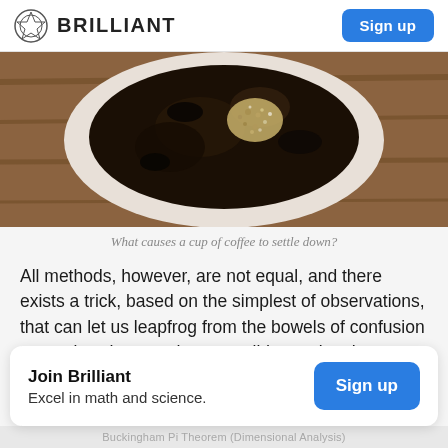BRILLIANT — Sign up
[Figure (photo): Top-down view of a white mug filled with black coffee and what appears to be chia seeds or spices settling on the surface, resting on a wooden table.]
What causes a cup of coffee to settle down?
All methods, however, are not equal, and there exists a trick, based on the simplest of observations, that can let us leapfrog from the bowels of confusion to a point where we have a valid equation that correctly describes a property of our system, without any calculation at all. The trick is dimensional analysis.
Join Brilliant
Excel in math and science.
Buckingham Pi Theorem (Dimensional Analysis)